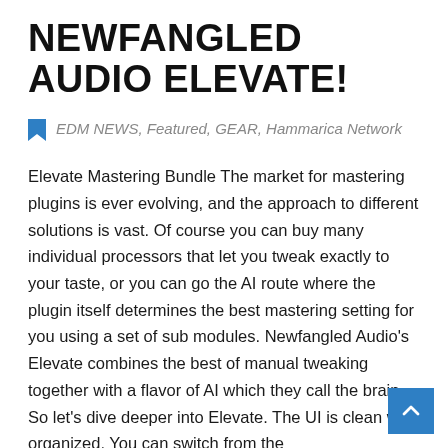NEWFANGLED AUDIO ELEVATE!
EDM NEWS, Featured, GEAR, Hammarica Network
Elevate Mastering Bundle The market for mastering plugins is ever evolving, and the approach to different solutions is vast. Of course you can buy many individual processors that let you tweak exactly to your taste, or you can go the AI route where the plugin itself determines the best mastering setting for you using a set of sub modules. Newfangled Audio's Elevate combines the best of manual tweaking together with a flavor of AI which they call the brain. So let's dive deeper into Elevate. The UI is clean well organized. You can switch from the